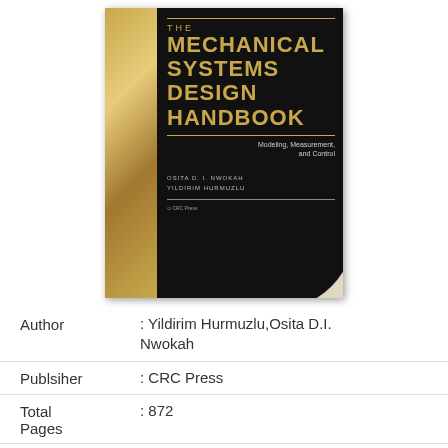[Figure (photo): Book cover of 'The Mechanical Systems Design Handbook: Modeling, Measurement, and Control' by Osita D.I. Nwokah and Yildirim Hurmuzlu, published by CRC Press. Black cover with gold/yellow title text and a gold textured spine.]
Author : Yildirim Hurmuzlu,Osita D.I. Nwokah
Publsiher : CRC Press
Total Pages : 872
Release : 2017-12-19